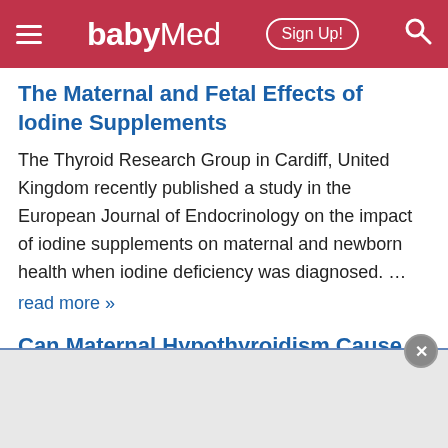babyMed | Sign Up!
The Maternal and Fetal Effects of Iodine Supplements
The Thyroid Research Group in Cardiff, United Kingdom recently published a study in the European Journal of Endocrinology on the impact of iodine supplements on maternal and newborn health when iodine deficiency was diagnosed. …
read more »
Can Maternal Hypothyroidism Cause a